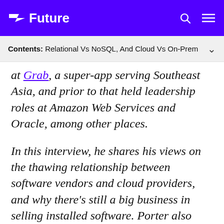Future
Contents: Relational Vs NoSQL, And Cloud Vs On-Prem
at Grab, a super-app serving Southeast Asia, and prior to that held leadership roles at Amazon Web Services and Oracle, among other places.
In this interview, he shares his views on the thawing relationship between software vendors and cloud providers, and why there's still a big business in selling installed software. Porter also dives deep on his time at Grab, sharing insights into what it's like building technology in a fast-growing market and leading a team distributed